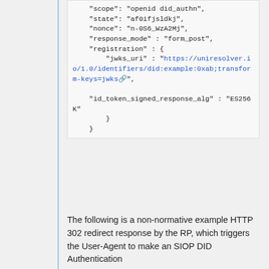[Figure (screenshot): Code block showing JSON snippet with scope, state, nonce, response_mode, registration fields including jwks_uri URL link and id_token_signed_response_alg fields]
The following is a non-normative example HTTP 302 redirect response by the RP, which triggers the User-Agent to make an SIOP DID Authentication